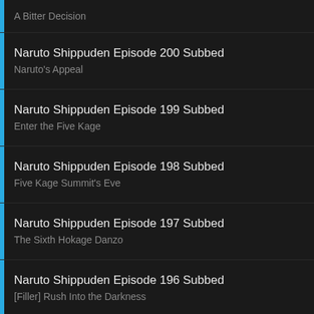A Bitter Decision
Naruto Shippuden Episode 200 Subbed
Naruto's Appeal
Naruto Shippuden Episode 199 Subbed
Enter the Five Kage
Naruto Shippuden Episode 198 Subbed
Five Kage Summit's Eve
Naruto Shippuden Episode 197 Subbed
The Sixth Hokage Danzo
Naruto Shippuden Episode 196 Subbed
[Filler] Rush Into the Darkness
[Figure (screenshot): Advertisement banner for Frontgate SALES: 20% off sitewide plus free shipping from August 19-22. frontgate.com. Shows outdoor furniture image on left, blue circle CTA button on right.]